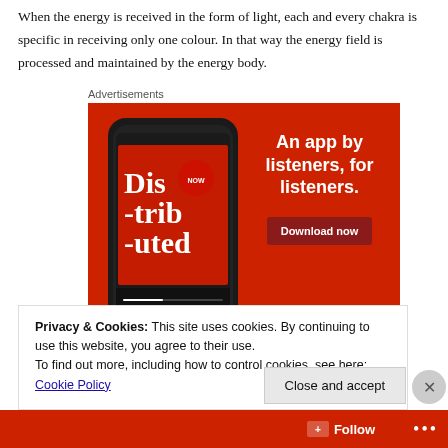When the energy is received in the form of light, each and every chakra is specific in receiving only one colour. In that way the energy field is processed and maintained by the energy body.
Advertisements
[Figure (photo): Advertisement banner with red background showing a smartphone displaying a podcast app screen with 'Dis-trib-uted' text, and the headline 'An app by listeners, for listeners.' with a 'Download now' button.]
Privacy & Cookies: This site uses cookies. By continuing to use this website, you agree to their use.
To find out more, including how to control cookies, see here: Cookie Policy
Close and accept